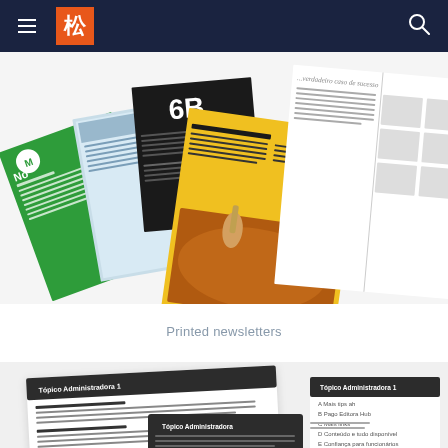Navigation header with hamburger menu, logo (松), and search icon
[Figure (photo): A fan of colorful printed newsletters spread out — showing green, blue, black, yellow, and white publications with text and food imagery in Portuguese]
Printed newsletters
[Figure (screenshot): Screenshots of digital newsletter/document layouts on a light background, showing dark header panels with topic navigation lists and body text in Portuguese]